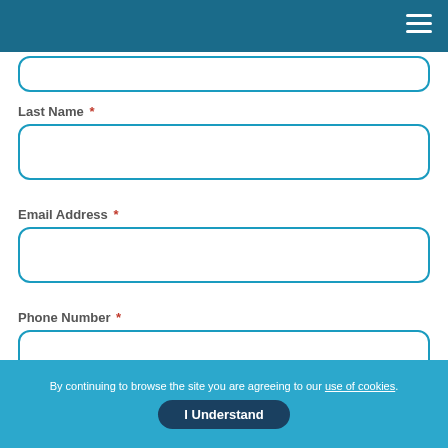Navigation header with hamburger menu
Last Name *
Email Address *
Phone Number *
Upload CV
By continuing to browse the site you are agreeing to our use of cookies.
I Understand